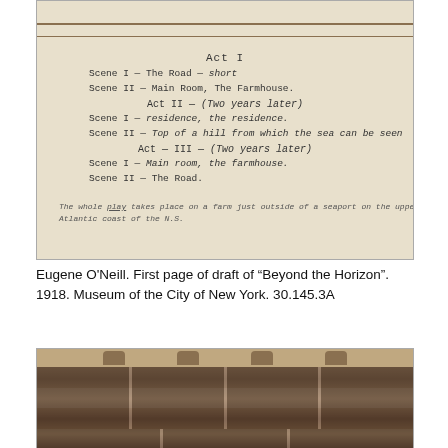[Figure (photo): Handwritten manuscript page showing Act I and Act II scene listings for 'Beyond the Horizon' by Eugene O'Neill, 1918. The manuscript shows Act I Scene I - The Road, Scene II - Main Room, The Farmhouse; Act II (Two years later) Scene I - residence, Scene II - Top of a hill; Act III (Two years later) Scene I - Main room, the farmhouse, Scene II - The Road. Bottom note reads: The whole play takes place on a farm just outside of a seaport on the upper Atlantic coast of the N.S.]
Eugene O'Neill. First page of draft of “Beyond the Horizon”. 1918. Museum of the City of New York. 30.145.3A
[Figure (photo): Sepia-toned photograph showing a theatrical stage set with layered curtain or drapery apparatus, likely a stage backdrop or curtain rigging system with horizontal striped fabric sections and metallic rigging elements at the top.]